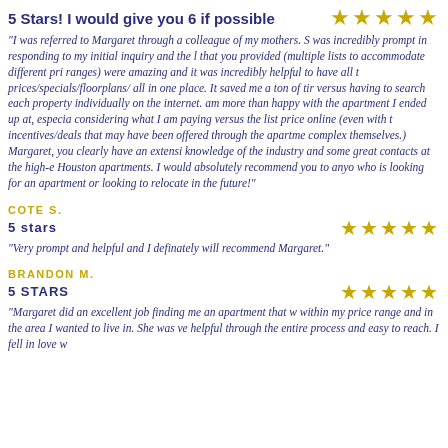5 Stars! I would give you 6 if possible
"I was referred to Margaret through a colleague of my mothers. S was incredibly prompt in responding to my initial inquiry and the l that you provided (multiple lists to accommodate different pri ranges) were amazing and it was incredibly helpful to have all t prices/specials/floorplans/ all in one place. It saved me a ton of tir versus having to search each property individually on the internet. am more than happy with the apartment I ended up at, especia considering what I am paying versus the list price online (even with t incentives/deals that may have been offered through the apartme complex themselves.) Margaret, you clearly have an extensi knowledge of the industry and some great contacts at the high-e Houston apartments. I would absolutely recommend you to anyo who is looking for an apartment or looking to relocate in the future!"
COTE S.
5 stars
"Very prompt and helpful and I definately will recommend Margaret."
BRANDON M.
5 STARS
"Margaret did an excellent job finding me an apartment that w within my price range and in the area I wanted to live in. She was ve helpful through the entire process and easy to reach. I fell in love w